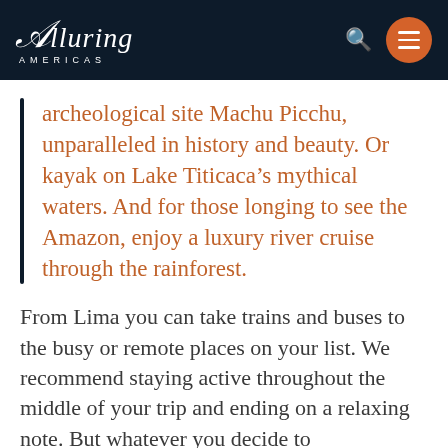Alluring Americas
archeological site Machu Picchu, unparalleled in history and beauty. Or kayak on Lake Titicaca's mythical waters. And for those longing to see the Amazon, enjoy a luxury river cruise through the rainforest.
From Lima you can take trains and buses to the busy or remote places on your list. We recommend staying active throughout the middle of your trip and ending on a relaxing note. But whatever you decide to